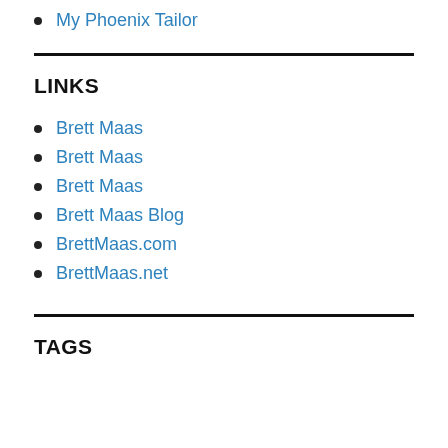My Phoenix Tailor
LINKS
Brett Maas
Brett Maas
Brett Maas
Brett Maas Blog
BrettMaas.com
BrettMaas.net
TAGS